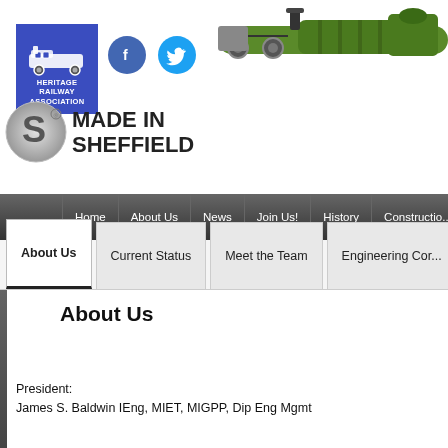[Figure (logo): Heritage Railway Association logo — blue background with steam train icon and text HERITAGE RAILWAY ASSOCIATION]
[Figure (logo): Facebook circular icon (blue) and Twitter circular icon (light blue) — social media icons]
[Figure (illustration): Illustration of a green steam locomotive boiler/side view, cropped at top right of page]
[Figure (logo): Made in Sheffield logo — silver S-wrench circular logo with text MADE IN SHEFFIELD]
Home | About Us | News | Join Us! | History | Construction
About Us | Current Status | Meet the Team | Engineering Com...
About Us
President:
James S. Baldwin IEng, MIET, MIGPP, Dip Eng Mgmt